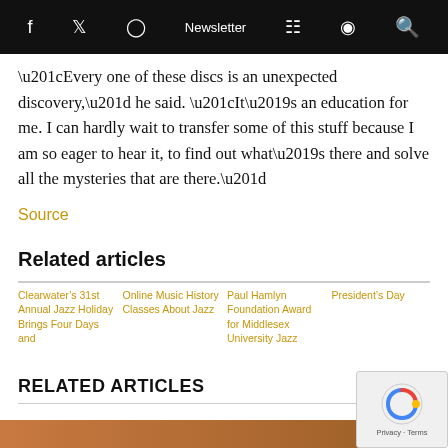f  Twitter  Instagram  Newsletter  Cart  Podcast  Search
“Every one of these discs is an unexpected discovery,” he said. “It’s an education for me. I can hardly wait to transfer some of this stuff because I am so eager to hear it, to find out what’s there and solve all the mysteries that are there.”
Source
Related articles
Clearwater’s 31st Annual Jazz Holiday Brings Four Days and
Online Music History Classes About Jazz
Paul Hamlyn Foundation Award for Middlesex University Jazz
President’s Day
RELATED ARTICLES
[Figure (photo): Bottom image strip showing a wooden surface, partially visible]